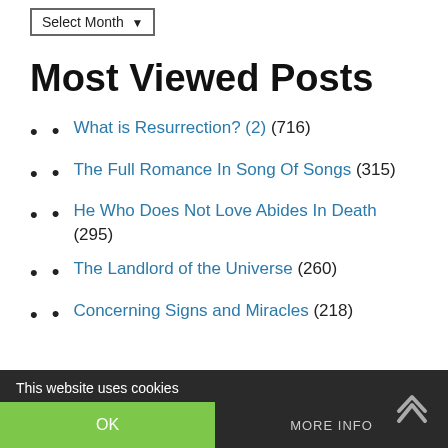Select Month
Most Viewed Posts
What is Resurrection? (2) (716)
The Full Romance In Song Of Songs (315)
He Who Does Not Love Abides In Death (295)
The Landlord of the Universe (260)
Concerning Signs and Miracles (218)
This website uses cookies | OK | MORE INFO